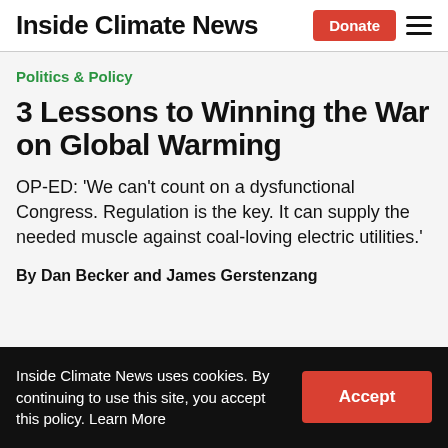Inside Climate News
Politics & Policy
3 Lessons to Winning the War on Global Warming
OP-ED: 'We can't count on a dysfunctional Congress. Regulation is the key. It can supply the needed muscle against coal-loving electric utilities.'
By Dan Becker and James Gerstenzang
Inside Climate News uses cookies. By continuing to use this site, you accept this policy. Learn More